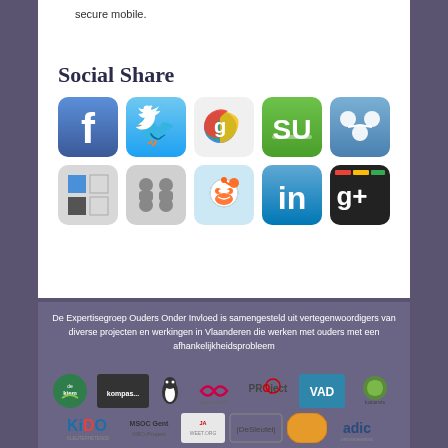secure mobile.
Social Share
[Figure (infographic): Social share icons: Facebook, Twitter, Google+, StumbleUpon, a sharing icon, a tiled squares icon, a people/groups icon, Reddit, LinkedIn, Google+]
De Expertisegroep Ouders Onder Invloed is samengesteld uit vertegenwoordigers van diverse projecten en werkingen in Vlaanderen die werken met ouders met een afhankelijkheidsprobleem
[Figure (logo): Row of partner logos: de kiem, kompas, penguin logo, infinity logo, PROject, VAD, katarsis]
[Figure (logo): Row of partner logos: KiDO, MSOC Gent KBO-Project, JA WEET, DeSleutel, orange logo, adic]